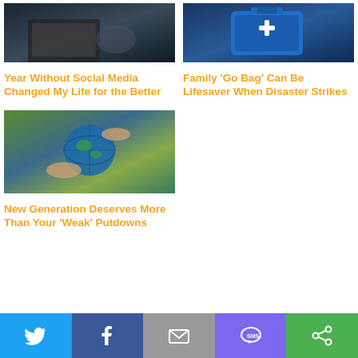[Figure (photo): Dark background photo showing a person with laptop or device, top left card]
Year Without Social Media Changed My Life for the Better
[Figure (photo): Blue first aid kit bag with white cross on it, top right card]
Family 'Go Bag' Can Be Lifesaver When Disaster Strikes
[Figure (photo): Hands holding a globe of the earth, bottom left card]
New Generation Deserves More Than Your 'Weak' Putdowns
[Figure (infographic): Social media share bar at bottom with Twitter, Facebook, Email, SMS, and share buttons]